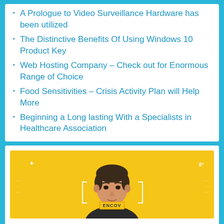A Prologue to Video Surveillance Hardware has been utilized
The Distinctive Benefits Of Using Windows 10 Product Key
Web Hosting Company – Check out for Enormous Range of Choice
Food Sensitivities – Crisis Activity Plan will Help More
Beginning a Long lasting With a Specialists in Healthcare Association
[Figure (photo): A man with dark hair on a yellow background, with bracket overlays and the ENCOV logo, suggesting a facial recognition or identity verification interface.]